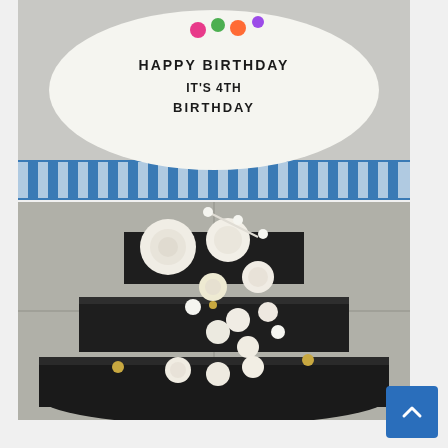[Figure (photo): Two stacked photos of birthday cakes. Top photo: a white round cake with black lettering reading 'HAPPY BIRTHDAY MANNIE IT'S 4TH BIRTHDAY' with colorful fondant flowers on top, displayed on a blue and white striped surface. Bottom photo: a three-tiered black fondant cake decorated with numerous white sugar roses, smaller rolled roses, white ball-tipped sprigs, and white star-shaped flowers cascading down the front, with gold pearl accents. The bottom tier is partially cut off.]